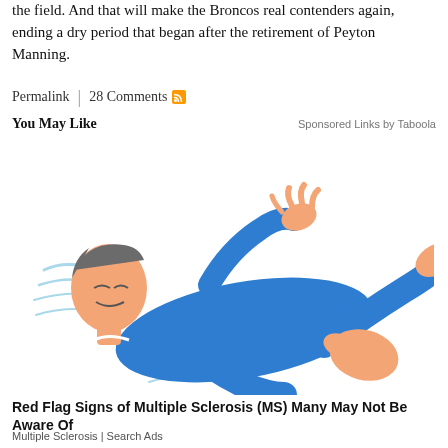the field. And that will make the Broncos real contenders again, ending a dry period that began after the retirement of Peyton Manning.
Permalink | 28 Comments
You May Like   Sponsored Links by Taboola
[Figure (illustration): Illustration of a person in a blue suit lying on their back with limbs raised, appearing to have a medical episode or spasm, against a white background.]
Red Flag Signs of Multiple Sclerosis (MS) Many May Not Be Aware Of
Multiple Sclerosis | Search Ads